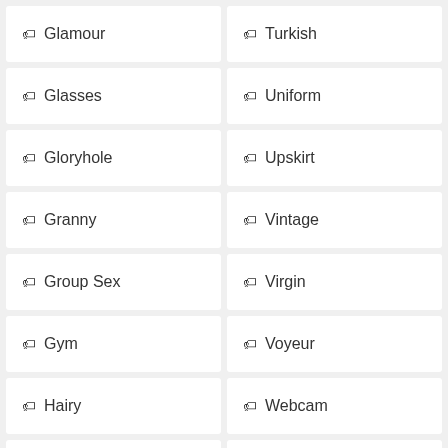🏷 Glamour
🏷 Turkish
🏷 Glasses
🏷 Uniform
🏷 Gloryhole
🏷 Upskirt
🏷 Granny
🏷 Vintage
🏷 Group Sex
🏷 Virgin
🏷 Gym
🏷 Voyeur
🏷 Hairy
🏷 Webcam
🏷 Handjob
🏷 Wife